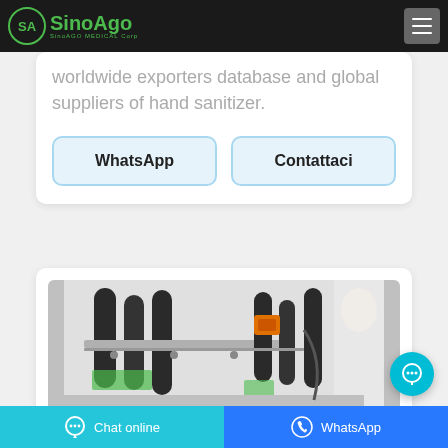[Figure (logo): SinoAgo Medical Corp logo with green circular emblem and green text]
worldwide exporters database and global suppliers of hand sanitizer.
WhatsApp
Contattaci
[Figure (photo): Close-up photo of industrial labeling or filling machine with black cylindrical components, orange sensor, and metal frame]
Chat online   WhatsApp